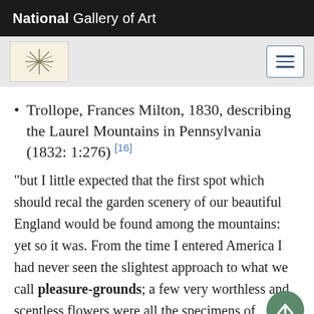National Gallery of Art
Trollope, Frances Milton, 1830, describing the Laurel Mountains in Pennsylvania (1832: 1:276) [16]
"but I little expected that the first spot which should recal the garden scenery of our beautiful England would be found among the mountains: yet so it was. From the time I entered America I had never seen the slightest approach to what we call pleasure-grounds; a few very worthless and scentless flowers were all the specimens of